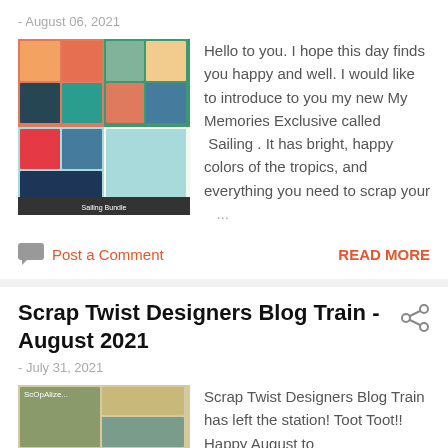- August 06, 2021
[Figure (photo): Thumbnail image of a colorful scrapbook bundle called Sailing, showing multiple pages with tropical bright colors]
Hello to you. I hope this day finds you happy and well. I would like to introduce to you my new My Memories Exclusive called  Sailing . It has bright, happy colors of the tropics, and everything you need to scrap your ...
Post a Comment
READ MORE
Scrap Twist Designers Blog Train - August 2021
- July 31, 2021
[Figure (photo): Thumbnail image of a scrapbook layout with muted green, beige, and brown tones]
Scrap Twist Designers Blog Train has left the station! Toot Toot!! Happy August to